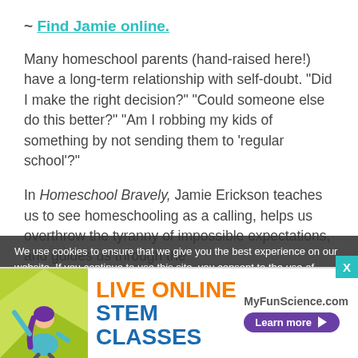~ Find Jamie online.
Many homeschool parents (hand-raised here!) have a long-term relationship with self-doubt. “Did I make the right decision?” “Could someone else do this better?” “Am I robbing my kids of something by not sending them to ‘regular school’?”
In Homeschool Bravely, Jamie Erickson teaches us to see homeschooling as a calling, helps us overthrow the tyranny of impossible expectations, and guides us through the
We use cookies to ensure that we give you the best experience on our website. If you continue to use this site, you consent to the use of
[Figure (infographic): Advertisement banner for MyFunScience.com Live Online STEM Classes with illustrated girl, orange and blue text, and purple Learn more button]